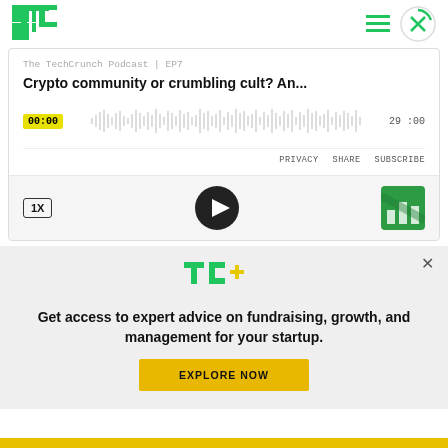[Figure (logo): TechCrunch TC logo in green]
[Figure (screenshot): Podcast player for The TechCrunch Podcast EP7 with waveform, timestamps 00:00 and 29:00, PRIVACY SHARE SUBSCRIBE links, 1X speed button, play button, and podcast cover art]
Crypto community or crumbling cult? An...
[Figure (logo): TC+ logo in green with plus sign]
Get access to expert advice on fundraising, growth, and management for your startup.
EXPLORE NOW